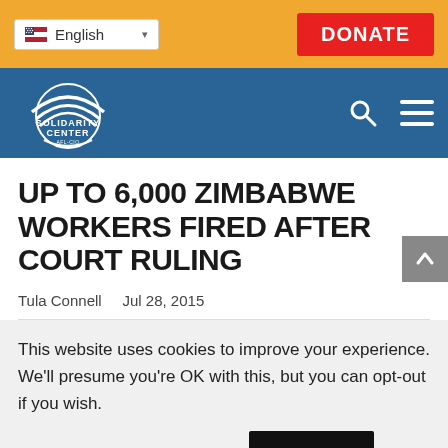English | DONATE
[Figure (logo): Solidarity Center logo on blue navigation bar with search and hamburger menu icons]
UP TO 6,000 ZIMBABWE WORKERS FIRED AFTER COURT RULING
Tula Connell   Jul 28, 2015
This website uses cookies to improve your experience. We'll presume you're OK with this, but you can opt-out if you wish.
Cookie settings   ACCEPT